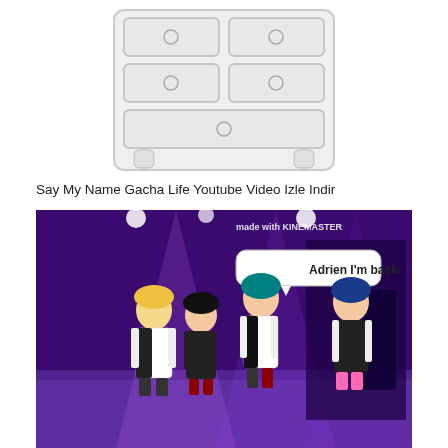[Figure (illustration): A white chest of drawers / dresser with circular knobs on each drawer, shown on a white background, partially cropped at top]
Say My Name Gacha Life Youtube Video Izle Indir
[Figure (screenshot): Screenshot from Gacha Life animation showing anime-style chibi characters in a purple disco/stage setting. Three characters visible: one with blonde hair and dark-haired character on left, one with teal/green hair in middle, one with blue hair on right. A speech bubble says 'Adrien I'm back-'. Text in upper right reads 'made with KINEMASTER'.]